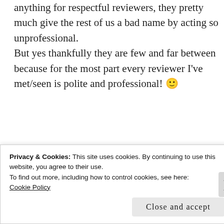anything for respectful reviewers, they pretty much give the rest of us a bad name by acting so unprofessional.
But yes thankfully they are few and far between because for the most part every reviewer I've met/seen is polite and professional! 🙂
★ Liked by 1 person
Privacy & Cookies: This site uses cookies. By continuing to use this website, you agree to their use.
To find out more, including how to control cookies, see here: Cookie Policy